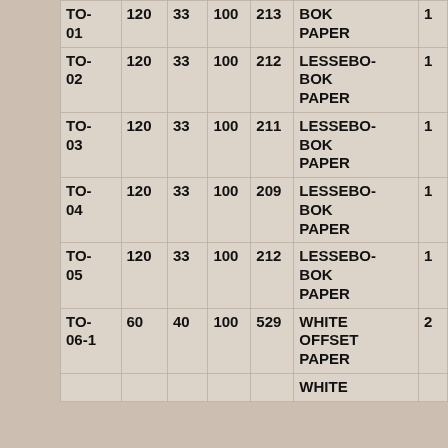| TO-01 | 120 | 33 | 100 | 213 | BOK PAPER | 1 |
| TO-02 | 120 | 33 | 100 | 212 | LESSEBO-BOK PAPER | 1 |
| TO-03 | 120 | 33 | 100 | 211 | LESSEBO-BOK PAPER | 1 |
| TO-04 | 120 | 33 | 100 | 209 | LESSEBO-BOK PAPER | 1 |
| TO-05 | 120 | 33 | 100 | 212 | LESSEBO-BOK PAPER | 1 |
| TO-06-1 | 60 | 40 | 100 | 529 | WHITE OFFSET PAPER | 2 |
|  |  |  |  |  | WHITE |  |